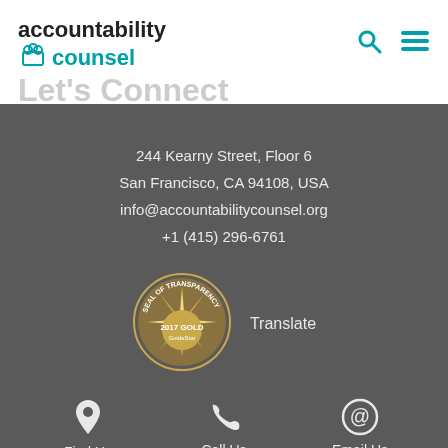[Figure (logo): Accountability Counsel logo with teal icon and text]
Let's Connect
244 Kearny Street, Floor 6
San Francisco, CA 94108, USA
info@accountabilitycounsel.org
+1 (415) 296-6761
[Figure (illustration): GuideStar 2017 Gold Seal of Transparency badge]
Translate
Find Us
Call Us
Email Us
NEWSLETTER